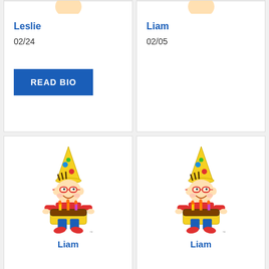[Figure (illustration): Cartoon birthday boy character (partially cropped at top) - Leslie card]
Leslie
02/24
READ BIO
[Figure (illustration): Cartoon birthday boy character (partially cropped at top) - Liam card top]
Liam
02/05
[Figure (illustration): Cartoon birthday boy character holding cake - Liam card bottom left]
Liam
[Figure (illustration): Cartoon birthday boy character holding cake - Liam card bottom right]
Liam